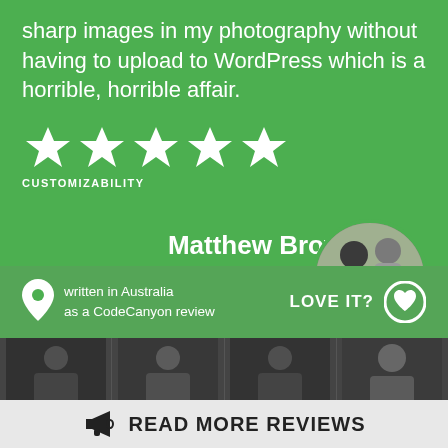sharp images in my photography without having to upload to WordPress which is a horrible, horrible affair.
[Figure (infographic): 5 white star rating icons in a row]
CUSTOMIZABILITY
Matthew Brown
BLASK PHOTOGRAPHY
[Figure (photo): Circular avatar photo of Matthew Brown from Blask Photography, showing two people with a camera outdoors]
written in Australia as a CodeCanyon review
LOVE IT?
[Figure (infographic): Bottom strip showing grayscale thumbnail photos of people]
READ MORE REVIEWS